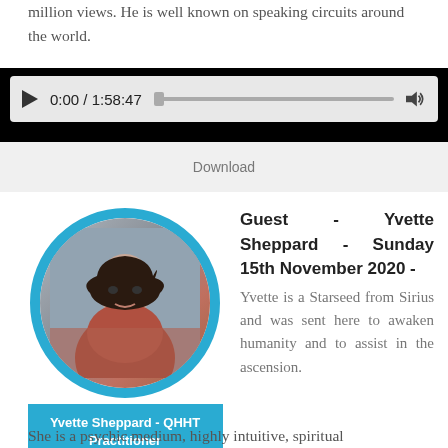million views. He is well known on speaking circuits around the world.
[Figure (screenshot): Audio player with play button, time display 0:00 / 1:58:47, progress bar, and volume icon on dark background]
Download
[Figure (photo): Circular profile photo of Yvette Sheppard with blue border frame and name badge reading 'Yvette Sheppard - QHHT Practitioner']
Guest - Yvette Sheppard - Sunday 15th November 2020 - Yvette is a Starseed from Sirius and was sent here to awaken humanity and to assist in the ascension.
She is a psychic medium, highly intuitive, spiritual